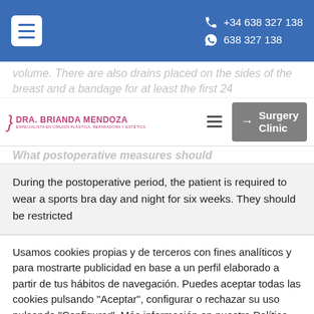+34 638 327 138 | 638 327 138
volume. There are also drains placed on the sides of the breast and a bandage for at least the first 24
[Figure (logo): Dra. Brianda Mendoza logo with pink stylized symbol and text, specialist in cirugía plástica, reparadora y estética]
What postoperative measures should
During the postoperative period, the patient is required to wear a sports bra day and night for six weeks. They should be restricted
Usamos cookies propias y de terceros con fines analíticos y para mostrarte publicidad en base a un perfil elaborado a partir de tus hábitos de navegación. Puedes aceptar todas las cookies pulsando "Aceptar", configurar o rechazar su uso pulsando "Configurar". Más información en nuestra Política de Cookies
Configuración | Aceptar